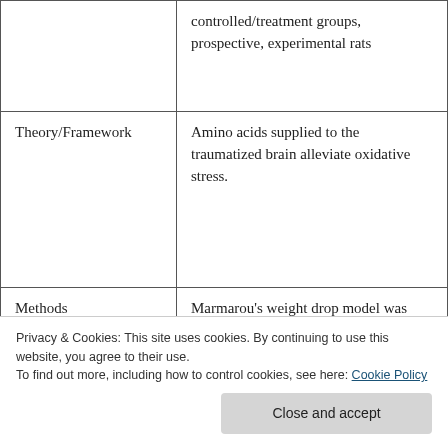|  |  |
| --- | --- |
|  | controlled/treatment groups, prospective, experimental rats |
| Theory/Framework | Amino acids supplied to the traumatized brain alleviate oxidative stress. |
| Methods | Marmarou's weight drop model was used to induce TBI (traumatic brain injury)... |
|  | lavage NAC (150mg/kg) |
Privacy & Cookies: This site uses cookies. By continuing to use this website, you agree to their use. To find out more, including how to control cookies, see here: Cookie Policy